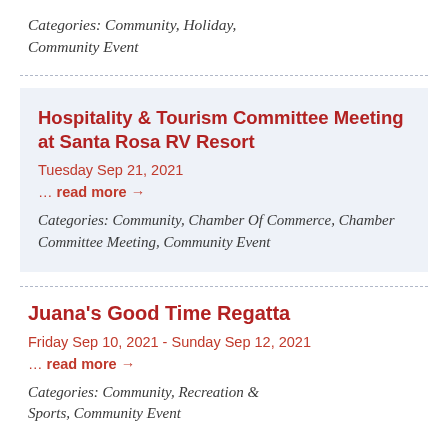Categories: Community, Holiday, Community Event
Hospitality & Tourism Committee Meeting at Santa Rosa RV Resort
Tuesday Sep 21, 2021
... read more →
Categories: Community, Chamber Of Commerce, Chamber Committee Meeting, Community Event
Juana's Good Time Regatta
Friday Sep 10, 2021 - Sunday Sep 12, 2021
... read more →
Categories: Community, Recreation & Sports, Community Event